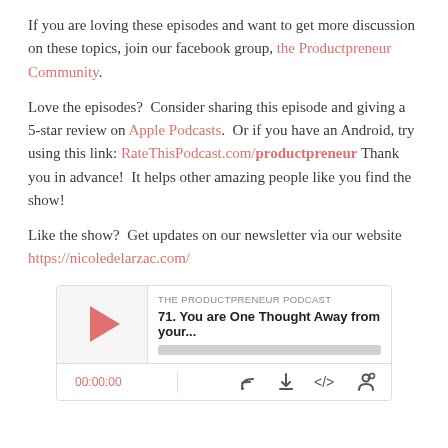If you are loving these episodes and want to get more discussion on these topics, join our facebook group, the Productpreneur Community.
Love the episodes?  Consider sharing this episode and giving a 5-star review on Apple Podcasts.  Or if you have an Android, try using this link: RateThisPodcast.com/productpreneur Thank you in advance!  It helps other amazing people like you find the show!
Like the show?  Get updates on our newsletter via our website https://nicoledelarzac.com/
[Figure (screenshot): Podcast player widget showing 'THE PRODUCTPRENEUR PODCAST' with episode '71. You are One Thought Away from your...' and playback controls including timestamp 00:00:00, subscribe, download, embed, and share icons.]